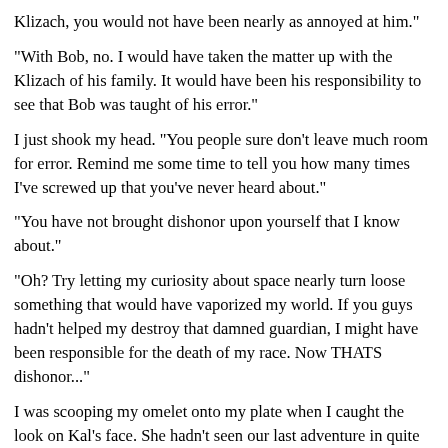Klizach, you would not have been nearly as annoyed at him."
"With Bob, no. I would have taken the matter up with the Klizach of his family. It would have been his responsibility to see that Bob was taught of his error."
I just shook my head. "You people sure don't leave much room for error. Remind me some time to tell you how many times I've screwed up that you've never heard about."
"You have not brought dishonor upon yourself that I know about."
"Oh? Try letting my curiosity about space nearly turn loose something that would have vaporized my world. If you guys hadn't helped my destroy that damned guardian, I might have been responsible for the death of my race. Now THATS dishonor..."
I was scooping my omelet onto my plate when I caught the look on Kal's face. She hadn't seen our last adventure in quite the same way I had. Now that I'd pointed it out, I could feel her emotions tearing at her. "You want me to get you a black outfit? We'd make a great pair walking around town together." I just ate my omelet and watched her war with herself.
By her rules, she had every right to throw me out of her life. Her heart however was throwing a wrench in the works. After all the